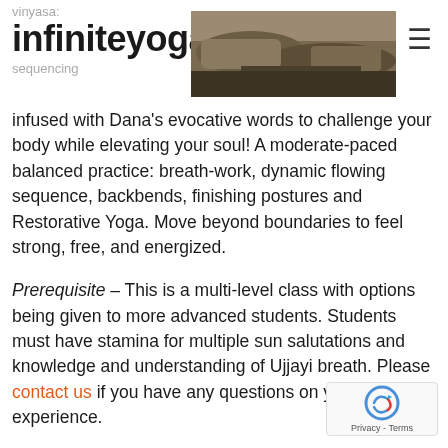vinyasa
infiniteyoga.com
sequencing
[Figure (photo): Outdoor rocky landscape photo used as header image]
infused with Dana's evocative words to challenge your body while elevating your soul! A moderate-paced balanced practice: breath-work, dynamic flowing sequence, backbends, finishing postures and Restorative Yoga. Move beyond boundaries to feel strong, free, and energized.
Prerequisite – This is a multi-level class with options being given to more advanced students. Students must have stamina for multiple sun salutations and knowledge and understanding of Ujjayi breath. Please contact us if you have any questions on your level of experience.
9:30am Hearty Brunch – served outside on the dec immediately after practice... Healthful and Nourishing...